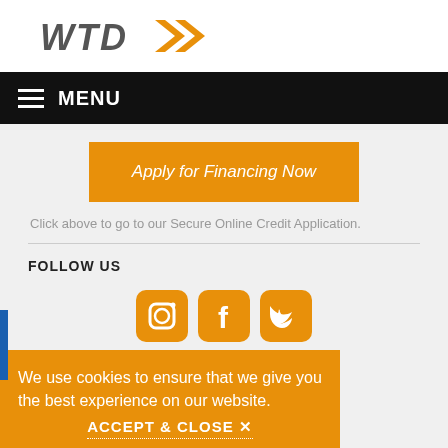[Figure (logo): WTD logo with orange double-arrow chevron graphic]
≡ MENU
Apply for Financing Now
Click above to go to our Secure Online Credit Application.
FOLLOW US
[Figure (infographic): Three orange rounded square social media icons: Instagram, Facebook, Twitter]
We use cookies to ensure that we give you the best experience on our website. ACCEPT & CLOSE ✕